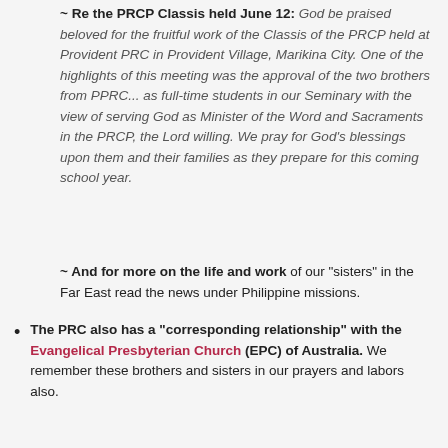~ Re the PRCP Classis held June 12: God be praised beloved for the fruitful work of the Classis of the PRCP held at Provident PRC in Provident Village, Marikina City. One of the highlights of this meeting was the approval of the two brothers from PPRC... as full-time students in our Seminary with the view of serving God as Minister of the Word and Sacraments in the PRCP, the Lord willing. We pray for God's blessings upon them and their families as they prepare for this coming school year.
~ And for more on the life and work of our "sisters" in the Far East read the news under Philippine missions.
The PRC also has a "corresponding relationship" with the Evangelical Presbyterian Church (EPC) of Australia. We remember these brothers and sisters in our prayers and labors also.